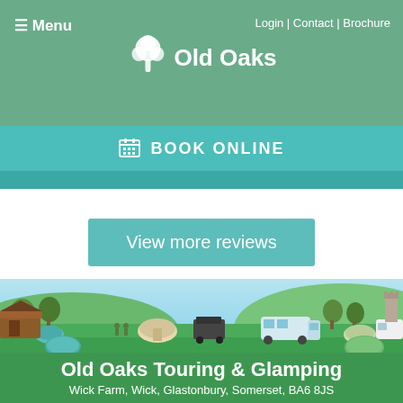≡ Menu   Login | Contact | Brochure   Old Oaks
BOOK ONLINE
View more reviews
[Figure (illustration): Illustrated scene of Old Oaks camping and glamping site with tents, caravans, yurts, trees, green hills and a church tower in the background]
Old Oaks Touring & Glamping
Wick Farm, Wick, Glastonbury, Somerset, BA6 8JS